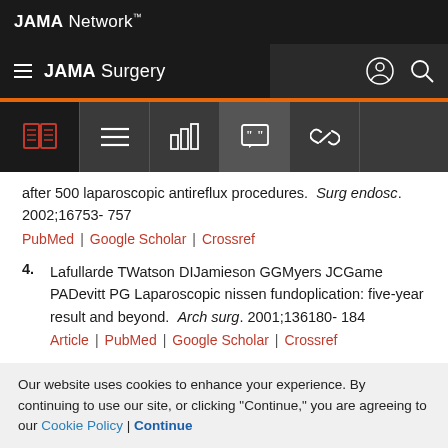JAMA Network
JAMA Surgery
after 500 laparoscopic antireflux procedures. Surg endosc. 2002;16753- 757
PubMed | Google Scholar | Crossref
4. Lafullarde TWatson DIJamieson GGMyers JCGame PADevitt PG Laparoscopic nissen fundoplication: five-year result and beyond. Arch surg. 2001;136180- 184
Article | PubMed | Google Scholar | Crossref
Our website uses cookies to enhance your experience. By continuing to use our site, or clicking "Continue," you are agreeing to our Cookie Policy | Continue